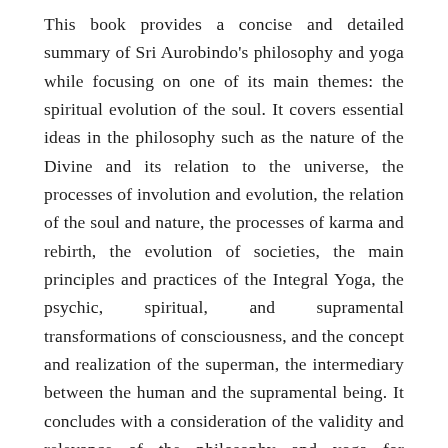This book provides a concise and detailed summary of Sri Aurobindo's philosophy and yoga while focusing on one of its main themes: the spiritual evolution of the soul. It covers essential ideas in the philosophy such as the nature of the Divine and its relation to the universe, the processes of involution and evolution, the relation of the soul and nature, the processes of karma and rebirth, the evolution of societies, the main principles and practices of the Integral Yoga, the psychic, spiritual, and supramental transformations of consciousness, and the concept and realization of the superman, the intermediary between the human and the supramental being. It concludes with a consideration of the validity and relevance of the philosophy and yoga for contemporary life.
Larry Seidlitz, Ph.D. is a practitioner and scholar of the Integral Yoga. This is his third book on Sri Aurobindo's philosophy and yoga, and he has also written essays on the topic for various journals. He was editor of the USA-